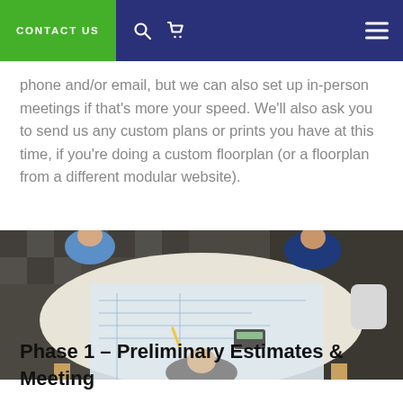CONTACT US
phone and/or email, but we can also set up in-person meetings if that's more your speed. We'll also ask you to send us any custom plans or prints you have at this time, if you're doing a custom floorplan (or a floorplan from a different modular website).
[Figure (photo): Overhead view of three people sitting around a table reviewing architectural plans/blueprints, with papers and a calculator on the table.]
Phase 1 – Preliminary Estimates & Meeting